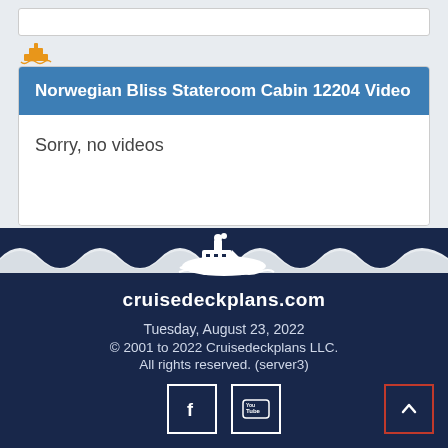[Figure (logo): Orange ship/boat icon]
Norwegian Bliss Stateroom Cabin 12204 Video
Sorry, no videos
[Figure (logo): Cruisedeckplans.com logo with ship silhouette and text]
Tuesday, August 23, 2022
© 2001 to 2022 Cruisedeckplans LLC.
All rights reserved. (server3)